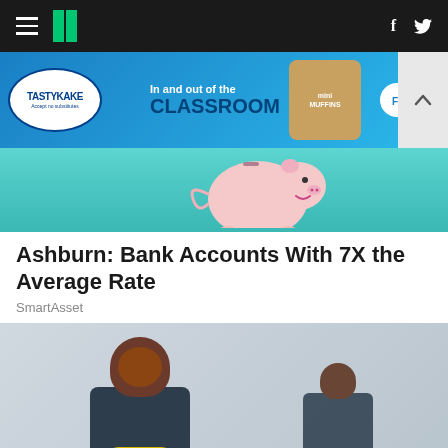HuffPost navigation bar with hamburger menu, logo, Facebook and Twitter icons
[Figure (photo): Tastykake advertisement banner: 'In and out of the CLASSROOM' with mini muffins and 'FIND NOW' button on blue background]
[Figure (photo): Photo of pink piggy bank on teal/turquoise background]
Ashburn: Bank Accounts With 7X the Average Rate
SmartAsset
[Figure (photo): Photo of a smiling woman in dark blue scrubs with yellow rubber gloves crossed over her chest, with another woman in scrubs visible in the background]